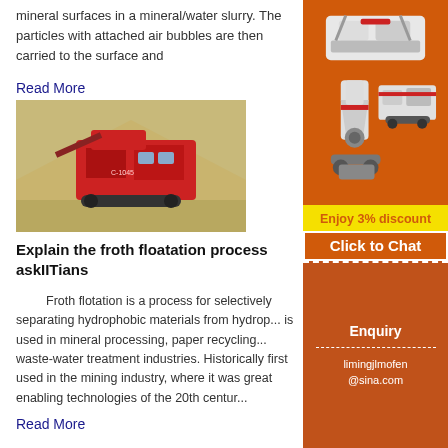mineral surfaces in a mineral/water slurry. The particles with attached air bubbles are then carried to the surface and
Read More
[Figure (photo): Red mobile mining/crushing machine with tracked wheels, surrounded by gravel and sand, outdoors]
Explain the froth floatation process askIITians
Froth flotation is a process for selectively separating hydrophobic materials from hydrop... is used in mineral processing, paper recycling... waste-water treatment industries. Historically first used in the mining industry, where it was great enabling technologies of the 20th centur...
Read More
[Figure (illustration): Advertisement sidebar showing industrial machinery (crushers, mills) on orange background, with Enjoy 3% discount, Click to Chat, Enquiry, and limingjlmofen@sina.com contact details]